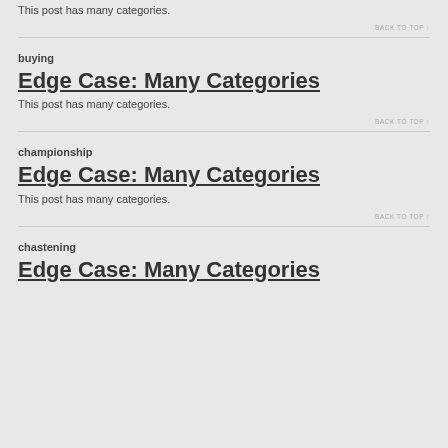This post has many categories.
BACK TO TOP ↑
buying
Edge Case: Many Categories
This post has many categories.
BACK TO TOP ↑
championship
Edge Case: Many Categories
This post has many categories.
BACK TO TOP ↑
chastening
Edge Case: Many Categories